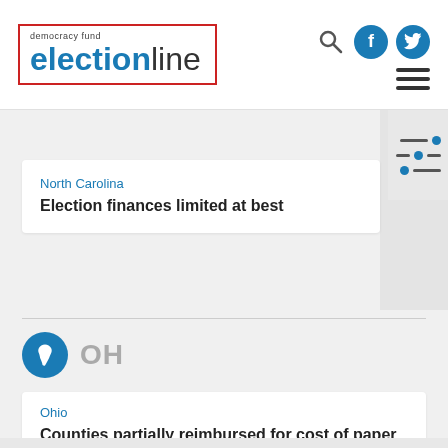democracy fund electionline
North Carolina
Election finances limited at best
[Figure (logo): OH state badge circle with Ohio outline icon in teal/blue]
OH
Ohio
Counties partially reimbursed for cost of paper ballots